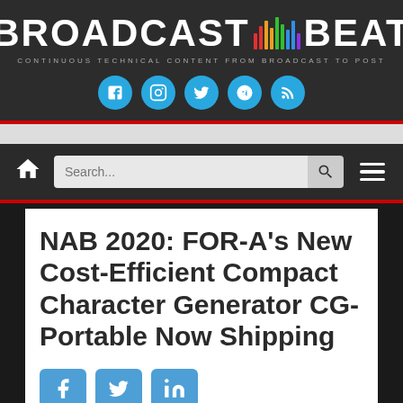BROADCAST BEAT — CONTINUOUS TECHNICAL CONTENT FROM BROADCAST TO POST
[Figure (logo): Broadcast Beat logo with colored bar chart graphic between words, social media icons below]
[Figure (screenshot): Navigation bar with home icon, search field, and hamburger menu]
NAB 2020: FOR-A's New Cost-Efficient Compact Character Generator CG-Portable Now Shipping
[Figure (infographic): Social share buttons for Facebook, Twitter, and LinkedIn]